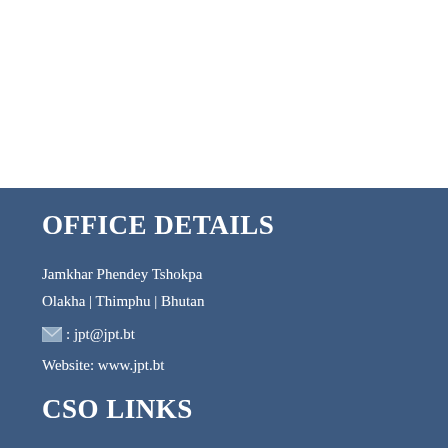OFFICE DETAILS
Jamkhar Phendey Tshokpa
Olakha | Thimphu | Bhutan
✉: jpt@jpt.bt
Website: www.jpt.bt
CSO LINKS